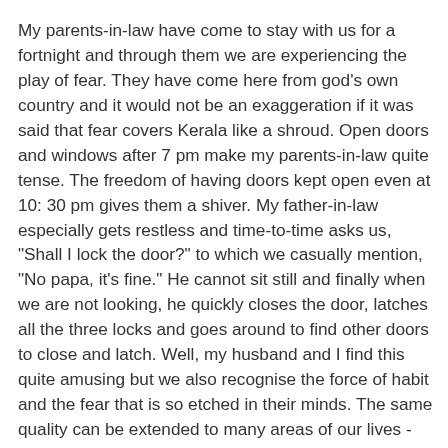My parents-in-law have come to stay with us for a fortnight and through them we are experiencing the play of fear. They have come here from god's own country and it would not be an exaggeration if it was said that fear covers Kerala like a shroud. Open doors and windows after 7 pm make my parents-in-law quite tense. The freedom of having doors kept open even at 10: 30 pm gives them a shiver. My father-in-law especially gets restless and time-to-time asks us, "Shall I lock the door?" to which we casually mention, "No papa, it's fine." He cannot sit still and finally when we are not looking, he quickly closes the door, latches all the three locks and goes around to find other doors to close and latch. Well, my husband and I find this quite amusing but we also recognise the force of habit and the fear that is so etched in their minds. The same quality can be extended to many areas of our lives - Children fearing doing something because the parents have threatened them with dire consequences. Sometimes the fear never leaves even when the children are no longer children. Women who do not change some patterns of living long after they have divorced their abusive husband. Senior citizens who have long lived with certain